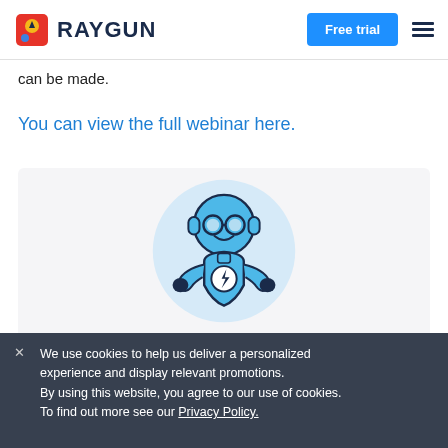RAYGUN | Free trial
can be made.
You can view the full webinar here.
[Figure (illustration): Raygun robot mascot illustration — a blue cartoon robot with round glasses, headphones, and a lightning bolt shield on its chest, set against a light blue circular background]
✕ We use cookies to help us deliver a personalized experience and display relevant promotions. By using this website, you agree to our use of cookies. To find out more see our Privacy Policy.